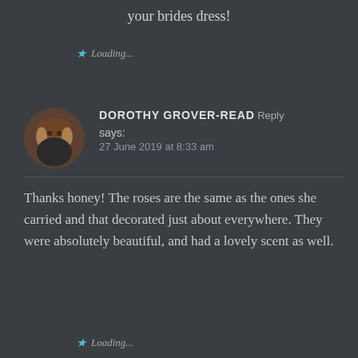your brides dress!
Loading...
DOROTHY GROVER-READ says:
27 June 2019 at 8:33 am
Thanks honey! The roses are the same as the ones she carried and that decorated just about everywhere. They were absolutely beautiful, and had a lovely scent as well.
Loading...